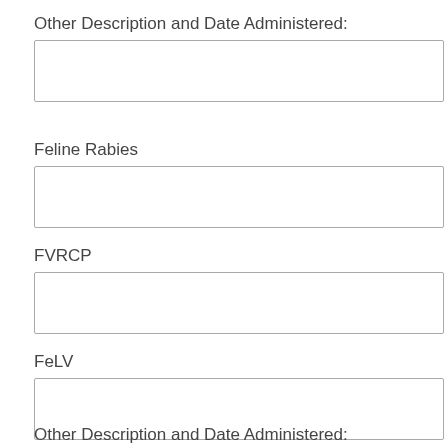Other Description and Date Administered:
Feline Rabies
FVRCP
FeLV
Other Description and Date Administered: